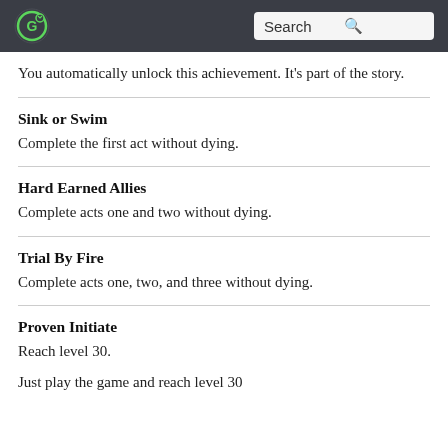Search
You automatically unlock this achievement. It's part of the story.
Sink or Swim
Complete the first act without dying.
Hard Earned Allies
Complete acts one and two without dying.
Trial By Fire
Complete acts one, two, and three without dying.
Proven Initiate
Reach level 30.
Just play the game and reach level 30